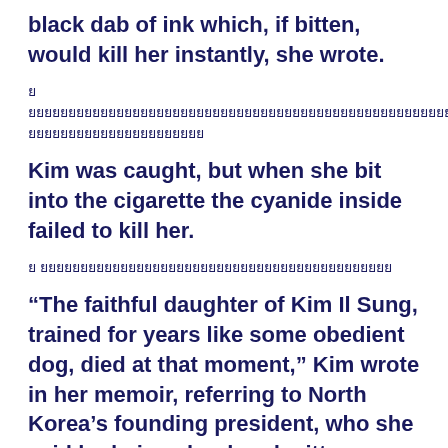black dab of ink which, if bitten, would kill her instantly, she wrote.
[foreign language text]
Kim was caught, but when she bit into the cigarette the cyanide inside failed to kill her.
[foreign language text]
“The faithful daughter of Kim Il Sung, trained for years like some obedient dog, died at that moment,” Kim wrote in her memoir, referring to North Korea’s founding president, who she said had given her handwritten orders to blow up the